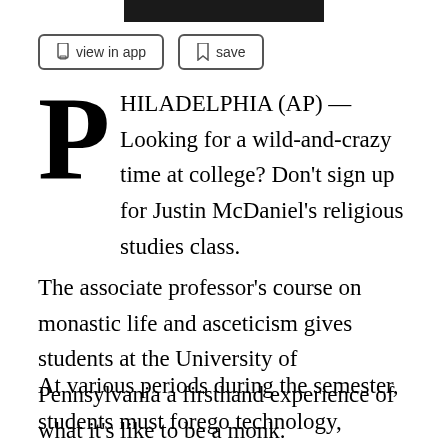[Figure (other): Dark/black horizontal banner bar at top of page]
view in app
save
PHILADELPHIA (AP) — Looking for a wild-and-crazy time at college? Don't sign up for Justin McDaniel's religious studies class.
The associate professor's course on monastic life and asceticism gives students at the University of Pennsylvania a firsthand experience of what it's like to be a monk.
At various periods during the semester, students must forego technology, coffee, physical human contact and certain foods. They'll also have to wake up at 5 a.m. —